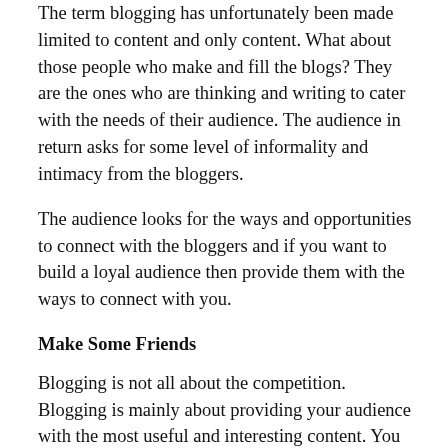The term blogging has unfortunately been made limited to content and only content. What about those people who make and fill the blogs? They are the ones who are thinking and writing to cater with the needs of their audience. The audience in return asks for some level of informality and intimacy from the bloggers.
The audience looks for the ways and opportunities to connect with the bloggers and if you want to build a loyal audience then provide them with the ways to connect with you.
Make Some Friends
Blogging is not all about the competition. Blogging is mainly about providing your audience with the most useful and interesting content. You can do this by asking and allowing other bloggers to enter your friends list. This